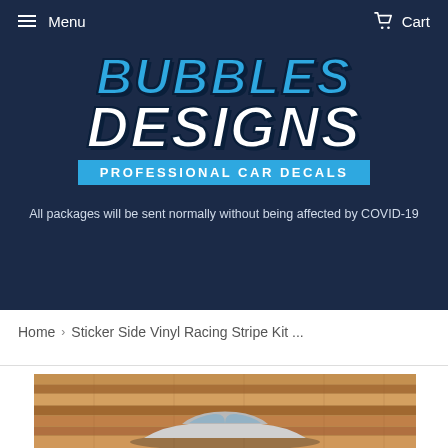Menu  Cart
[Figure (logo): Bubbles Designs Professional Car Decals logo on dark navy background]
All packages will be sent normally without being affected by COVID-19
Home > Sticker Side Vinyl Racing Stripe Kit ...
[Figure (photo): Product photo showing a car against a wooden plank background]